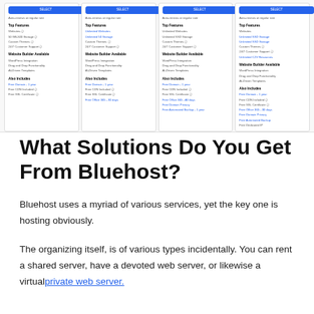[Figure (screenshot): Screenshot of Bluehost hosting plan comparison table showing four plan columns, each with a blue Select button, auto-renews notice, Top Features section (Websites, Storage, Custom Themes, Customer Support), Website Builder Available section (WordPress Integration, Drag and Drop Functionality, AI-Driven Templates), and Also Includes section (Free Domain, Free CDN, Free SSL Certificate, and additional items for higher tiers).]
What Solutions Do You Get From Bluehost?
Bluehost uses a myriad of various services, yet the key one is hosting obviously.
The organizing itself, is of various types incidentally. You can rent a shared server, have a devoted web server, or likewise a virtual private web server.